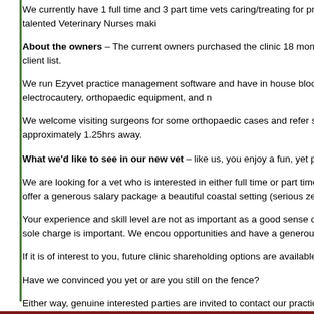We currently have 1 full time and 3 part time vets caring/treating for prima pocket pets. Our Vets are supported by 8 talented Veterinary Nurses maki
About the owners – The current owners purchased the clinic 18 months a facilities and in turn, we have a growing client list.
We run Ezyvet practice management software and have in house blood m digital x-ray, dental machine, electrocautery, orthopaedic equipment, and n
We welcome visiting surgeons for some orthopaedic cases and refer some specialist/emergency centre approximately 1.25hrs away.
What we'd like to see in our new vet – like us, you enjoy a fun, yet profe
We are looking for a vet who is interested in either full time or part time wo during most of the school holidays. We offer a generous salary package a beautiful coastal setting (serious zen).
Your experience and skill level are not as important as a good sense of hu although the ability to work occasional sole charge is important. We encou opportunities and have a generous CPD policy.
If it is of interest to you, future clinic shareholding options are available to t
Have we convinced you yet or are you still on the fence?
Either way, genuine interested parties are invited to contact our practice o to start a conversation and find out more.
Back to top